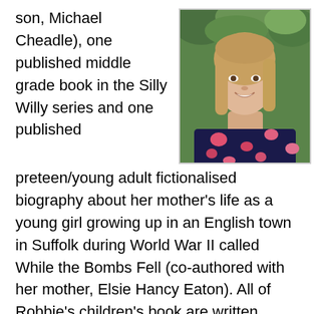son, Michael Cheadle), one published middle grade book in the Silly Willy series and one published preteen/young adult fictionalised biography about her mother's life as a young girl growing up in an English town in Suffolk during World War II called While the Bombs Fell (co-authored with her mother, Elsie Hancy Eaton). All of Robbie's children's book are written under Robbie Cheadle and are published by TSL Publications.
[Figure (photo): Portrait photo of a smiling woman with shoulder-length blonde hair, wearing a dark navy floral dress with pink and red flowers, photographed outdoors with green foliage in the background.]
Robbie has recently branched into young adult and